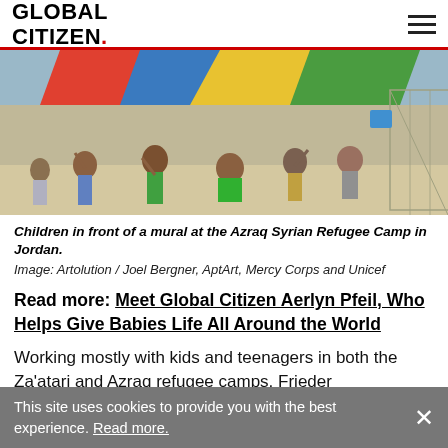GLOBAL CITIZEN.
[Figure (photo): Children in front of a mural at the Azraq Syrian Refugee Camp in Jordan, making peace signs.]
Children in front of a mural at the Azraq Syrian Refugee Camp in Jordan.
Image: Artolution / Joel Bergner, AptArt, Mercy Corps and Unicef
Read more: Meet Global Citizen Aerlyn Pfeil, Who Helps Give Babies Life All Around the World
Working mostly with kids and teenagers in both the Za'atari and Azraq refugee camps, Frieder
This site uses cookies to provide you with the best experience. Read more.